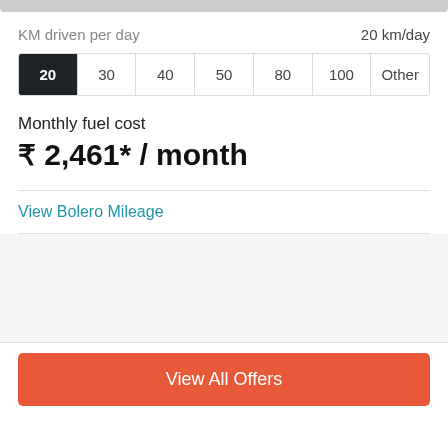KM driven per day    20 km/day
| 20 | 30 | 40 | 50 | 80 | 100 | Other |
| --- | --- | --- | --- | --- | --- | --- |
Monthly fuel cost
₹ 2,461* / month
View Bolero Mileage
View All Offers